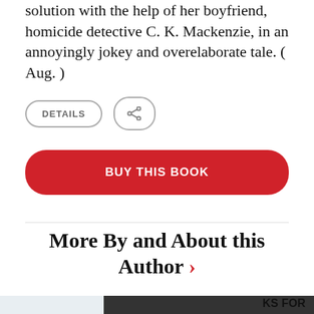solution with the help of her boyfriend, homicide detective C. K. Mackenzie, in an annoyingly jokey and overelaborate tale. ( Aug. )
DETAILS | [share icon]
BUY THIS BOOK
More By and About this Author >
[Figure (other): Dark advertisement banner partially visible at bottom, with text 'KS FOR' visible at lower right]